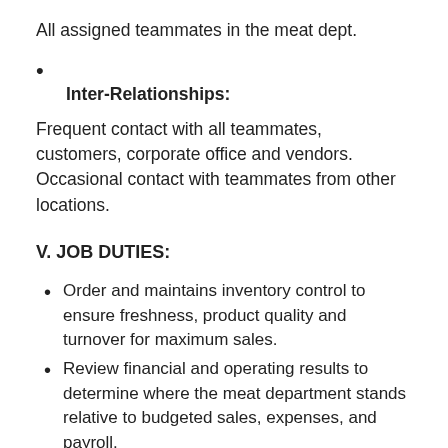All assigned teammates in the meat dept.
Inter-Relationships:
Frequent contact with all teammates, customers, corporate office and vendors. Occasional contact with teammates from other locations.
V. JOB DUTIES:
Order and maintains inventory control to ensure freshness, product quality and turnover for maximum sales.
Review financial and operating results to determine where the meat department stands relative to budgeted sales, expenses, and payroll.
Make effective and administrative decisions...